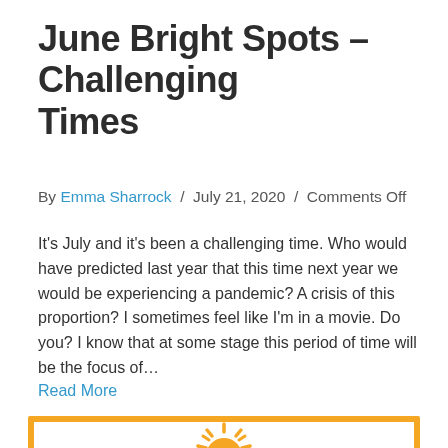June Bright Spots – Challenging Times
By Emma Sharrock / July 21, 2020 / Comments Off
It's July and it's been a challenging time. Who would have predicted last year that this time next year we would be experiencing a pandemic? A crisis of this proportion? I sometimes feel like I'm in a movie. Do you? I know that at some stage this period of time will be the focus of…
Read More
[Figure (illustration): Orange-bordered card with a sun illustration (yellow/orange sun with rays) centered on white background]